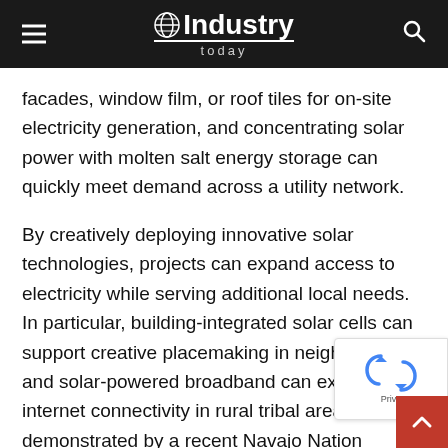Industry Today
facades, window film, or roof tiles for on-site electricity generation, and concentrating solar power with molten salt energy storage can quickly meet demand across a utility network.
By creatively deploying innovative solar technologies, projects can expand access to electricity while serving additional local needs. In particular, building-integrated solar cells can support creative placemaking in neighborhoods, and solar-powered broadband can expand internet connectivity in rural tribal areas, as demonstrated by a recent Navajo Nation community proposal.